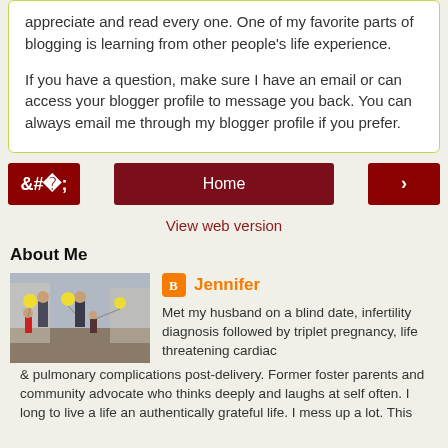appreciate and read every one. One of my favorite parts of blogging is learning from other people's life experience.

If you have a question, make sure I have an email or can access your blogger profile to message you back. You can always email me through my blogger profile if you prefer.
‹
Home
›
View web version
About Me
[Figure (photo): Family photo showing adults and children walking, with yellow balloons]
Jennifer
Met my husband on a blind date, infertility diagnosis followed by triplet pregnancy, life threatening cardiac & pulmonary complications post-delivery. Former foster parents and community advocate who thinks deeply and laughs at self often. I long to live a life an authentically grateful life. I mess up a lot. This